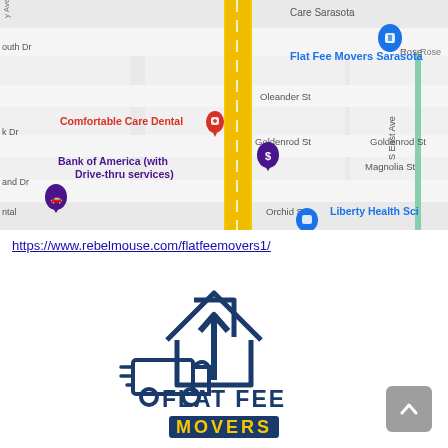[Figure (screenshot): Google Maps screenshot showing area around Flat Fee Movers Sarasota, with street labels: Care Sarasota, Oleander St, Goldenrod St, Magnolia St, Orchid St, S East Ave, Rose, k Dr, outh Dr, and Dr, ntal. Landmarks: Flat Fee Movers Sarasota (blue pin), Comfortable Care Dental (red pin), Bank of America with Drive-thru services (purple pin), Liberty Health Sci (blue bag pin). A yellow road runs vertically through the center.]
https://www.rebelmouse.com/flatfeemovers1/
[Figure (logo): Flat Fee Movers logo: dark blue outline of a house with an upward arrow, and a moving truck with speed lines. Text below reads FLAT FEE in dark blue, and MOVERS in yellow on a dark blue banner.]